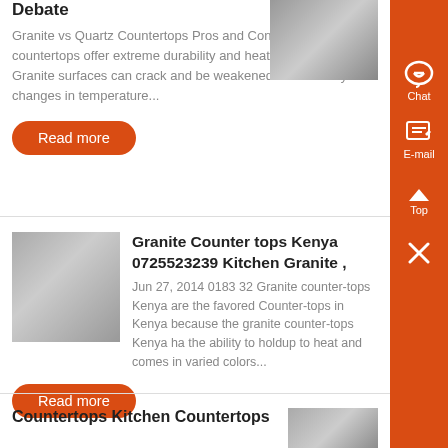Debate
Granite vs Quartz Countertops Pros and Cons Quartz countertops offer extreme durability and heat resistance Granite surfaces can crack and be weakened over time by changes in temperature...
Read more
[Figure (photo): Gray photo of countertop or plumbing fixture]
Granite Counter tops Kenya 0725523239 Kitchen Granite ,
[Figure (photo): Photo of granite countertop installation in Kenya]
Jun 27, 2014 0183 32 Granite counter-tops Kenya are the favored Counter-tops in Kenya because the granite counter-tops Kenya has the ability to holdup to heat and comes in varied colors...
Read more
Countertops Kitchen Countertops
[Figure (photo): Photo of kitchen countertop]